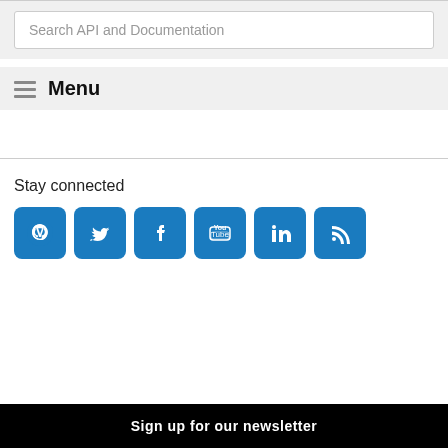Search API and Documentation
Menu
Stay connected
[Figure (other): Social media icons: GitHub, Twitter, Facebook, YouTube, LinkedIn, RSS]
Sign up for our newsletter